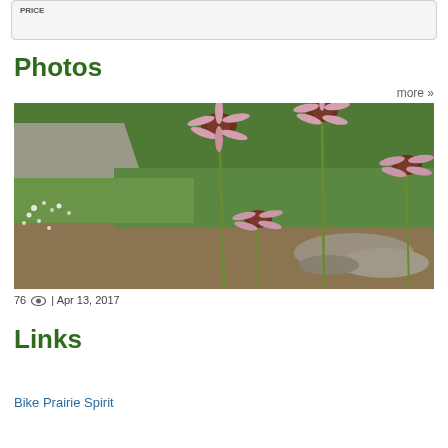[Figure (other): Gray rounded rectangle box at top of page, partially visible, appears to be a UI widget or form element with small text]
Photos
more »
[Figure (photo): Photograph of purple coneflowers (Echinacea) along a roadside with green vegetation, a paved road visible in the background left, and rocks on the right side]
76 👁 | Apr 13, 2017
Links
Bike Prairie Spirit